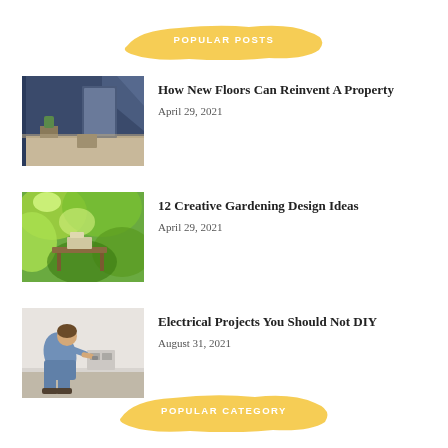POPULAR POSTS
[Figure (photo): Interior room with dark blue wall and wooden floor, minimal furniture]
How New Floors Can Reinvent A Property
April 29, 2021
[Figure (photo): Outdoor garden setting with green foliage and patio furniture]
12 Creative Gardening Design Ideas
April 29, 2021
[Figure (photo): Person crouching and working on electrical project near white wall]
Electrical Projects You Should Not DIY
August 31, 2021
POPULAR CATEGORY